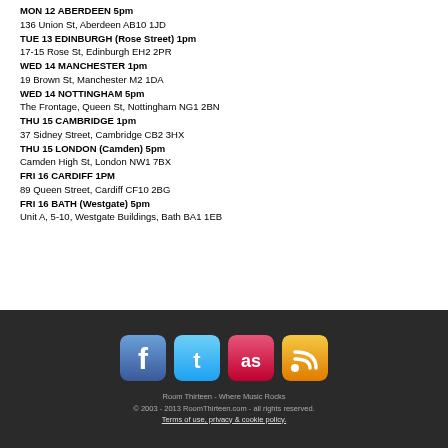MON 12 ABERDEEN 5pm
136 Union St, Aberdeen AB10 1JD
TUE 13 EDINBURGH (Rose Street) 1pm
17-15 Rose St, Edinburgh EH2 2PR
WED 14 MANCHESTER 1pm
19 Brown St, Manchester M2 1DA
WED 14 NOTTINGHAM 5pm
The Frontage, Queen St, Nottingham NG1 2BN
THU 15 CAMBRIDGE 1pm
37 Sidney Street, Cambridge CB2 3HX
THU 15 LONDON (Camden) 5pm
Camden High St, London NW1 7BX
FRI 16 CARDIFF 1PM
89 Queen Street, Cardiff CF10 2BG
FRI 16 BATH (Westgate) 5pm
Unit A, 5-10, Westgate Buildings, Bath BA1 1EB
[Figure (infographic): Four social media icon buttons: Facebook (blue), Twitter (blue), Last.fm (pink/red), RSS (orange)]
Room Thirteen - Where Music Rocks
© 2003 - 2013 RoomThirteen.com - all rights reserved.
Terms of use, privacy & cookie policy.